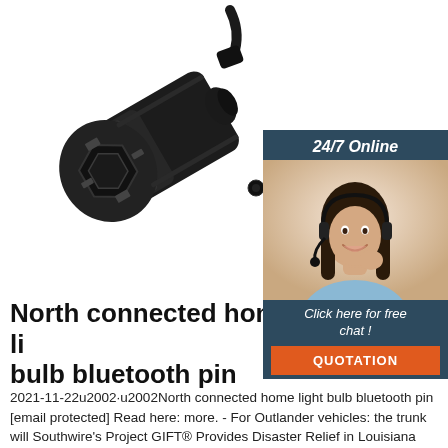[Figure (photo): Black plastic cylindrical connector/plug device, angled view showing hex socket end, with a cable attached at top.]
[Figure (infographic): 24/7 Online chat widget with a smiling woman wearing a headset, 'Click here for free chat!' text and orange QUOTATION button.]
North connected home light bulb bluetooth pin
2021-11-22u2002·u2002North connected home light bulb bluetooth pin [email protected] Read here: more. - For Outlander vehicles: the trunk will Southwire's Project GIFT® Provides Disaster Relief in Louisiana Following Hurricane Ida. 4 out